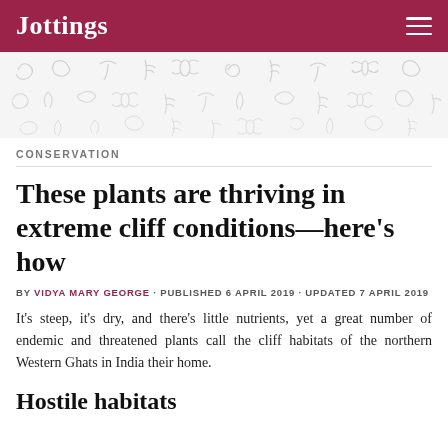Jottings
[Figure (illustration): Decorative banner with light gray nature/animal doodles on white background]
CONSERVATION
These plants are thriving in extreme cliff conditions—here's how
BY VIDYA MARY GEORGE · PUBLISHED 6 APRIL 2019 · UPDATED 7 APRIL 2019
It's steep, it's dry, and there's little nutrients, yet a great number of endemic and threatened plants call the cliff habitats of the northern Western Ghats in India their home.
Hostile habitats